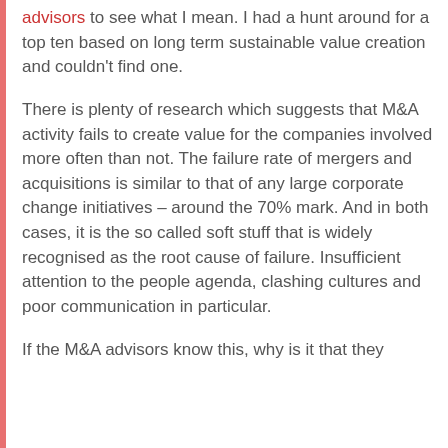advisors to see what I mean. I had a hunt around for a top ten based on long term sustainable value creation and couldn't find one.
There is plenty of research which suggests that M&A activity fails to create value for the companies involved more often than not. The failure rate of mergers and acquisitions is similar to that of any large corporate change initiatives – around the 70% mark. And in both cases, it is the so called soft stuff that is widely recognised as the root cause of failure. Insufficient attention to the people agenda, clashing cultures and poor communication in particular.
If the M&A advisors know this, why is it that they